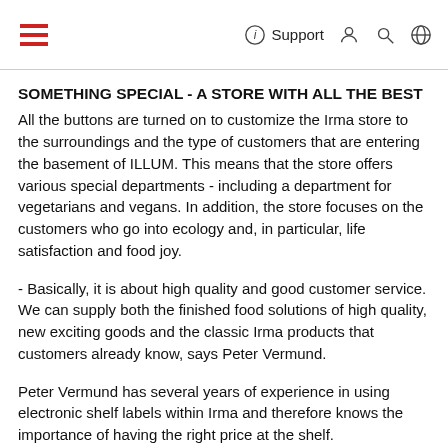Support
SOMETHING SPECIAL - A STORE WITH ALL THE BEST
All the buttons are turned on to customize the Irma store to the surroundings and the type of customers that are entering the basement of ILLUM. This means that the store offers various special departments - including a department for vegetarians and vegans. In addition, the store focuses on the customers who go into ecology and, in particular, life satisfaction and food joy.
- Basically, it is about high quality and good customer service. We can supply both the finished food solutions of high quality, new exciting goods and the classic Irma products that customers already know, says Peter Vermund.
Peter Vermund has several years of experience in using electronic shelf labels within Irma and therefore knows the importance of having the right price at the shelf.